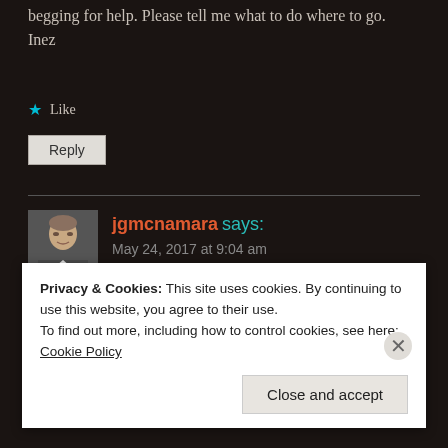begging for help. Please tell me what to do where to go. Inez
★ Like
Reply
jgmcnamara says:
May 24, 2017 at 9:04 am
[Figure (photo): Profile photo of a man in a suit with a yellow tie]
Dear Inez,
Privacy & Cookies: This site uses cookies. By continuing to use this website, you agree to their use.
To find out more, including how to control cookies, see here: Cookie Policy
Close and accept